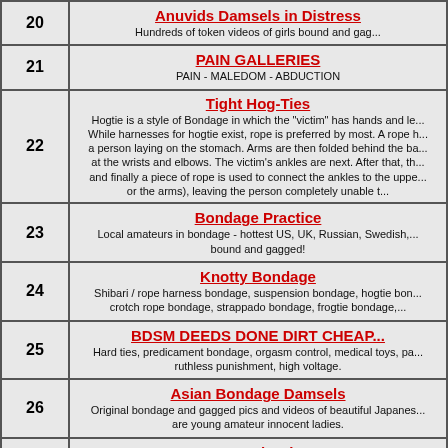| # | Site / Description |
| --- | --- |
| 20 | Anuvids Damsels in Distress
Hundreds of token videos of girls bound and gag... |
| 21 | PAIN GALLERIES
PAIN - MALEDOM - ABDUCTION |
| 22 | Tight Hog-Ties
Hogtie is a style of Bondage in which the "victim" has hands and le... While harnesses for hogtie exist, rope is preferred by most. A rope h... a person laying on the stomach. Arms are then folded behind the ba... at the wrists and elbows. The victim's ankles are next. After that, th... and finally a piece of rope is used to connect the ankles to the uppe... or the arms), leaving the person completely unable t... |
| 23 | Bondage Practice
Local amateurs in bondage - hottest US, UK, Russian, Swedish,... bound and gagged! |
| 24 | Knotty Bondage
Shibari / rope harness bondage, suspension bondage, hogtie bon... crotch rope bondage, strappado bondage, frogtie bondage,... |
| 25 | BDSM DEEDS DONE DIRT CHEAP...
Hard ties, predicament bondage, orgasm control, medical toys, pa... ruthless punishment, high voltage. |
| 26 | Asian Bondage Damsels
Original bondage and gagged pics and videos of beautiful Japanes... are young amateur innocent ladies. |
| 27 | Bound Hub
Bondage, domination, fetishes, toys, webcams, video... |